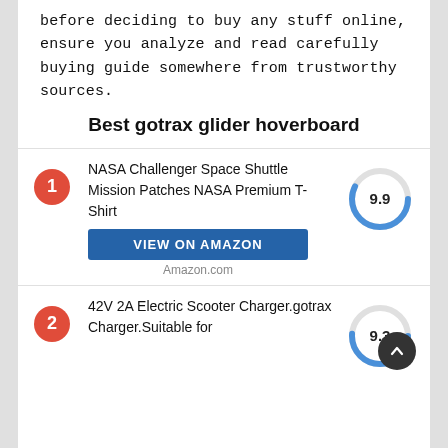before deciding to buy any stuff online, ensure you analyze and read carefully buying guide somewhere from trustworthy sources.
Best gotrax glider hoverboard
1. NASA Challenger Space Shuttle Mission Patches NASA Premium T-Shirt — Score: 9.9 — VIEW ON AMAZON — Amazon.com
2. 42V 2A Electric Scooter Charger.gotrax Charger.Suitable for — Score: 9.3